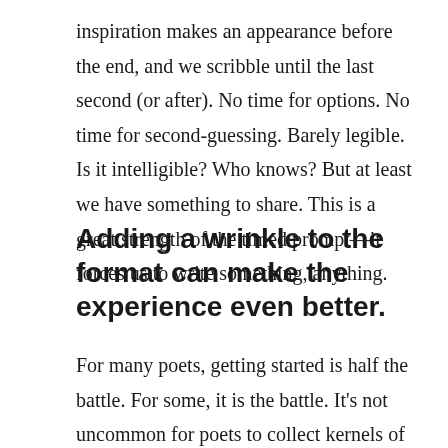inspiration makes an appearance before the end, and we scribble until the last second (or after). No time for options. No time for second-guessing. Barely legible. Is it intelligible? Who knows? But at least we have something to share. This is a great strength of the timed prompt—it forces us to write something, anything.
Adding a wrinkle to the format can make the experience even better.
For many poets, getting started is half the battle. For some, it is the battle. It's not uncommon for poets to collect kernels of inspiration throughout their life. These might be lines of poetry without a home, images, stories, snippets of dreams, random articles, overheard